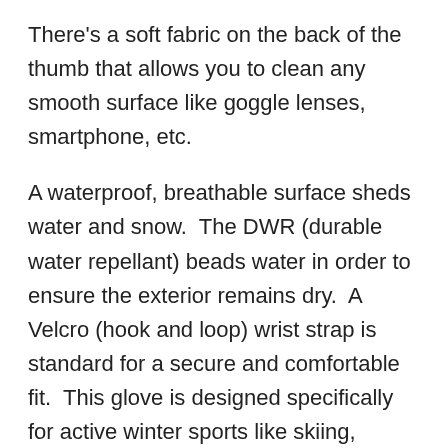There's a soft fabric on the back of the thumb that allows you to clean any smooth surface like goggle lenses, smartphone, etc.
A waterproof, breathable surface sheds water and snow.  The DWR (durable water repellant) beads water in order to ensure the exterior remains dry.  A Velcro (hook and loop) wrist strap is standard for a secure and comfortable fit.  This glove is designed specifically for active winter sports like skiing, sledding, snowboarding, etc.